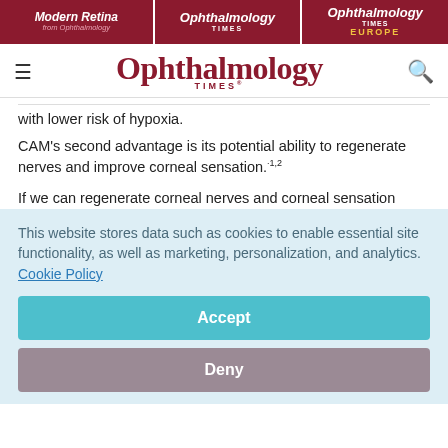Modern Retina | Ophthalmology Times | Ophthalmology Times Europe
[Figure (logo): Ophthalmology Times logo with hamburger menu and search icon]
with lower risk of hypoxia.
CAM's second advantage is its potential ability to regenerate nerves and improve corneal sensation.1,2
If we can regenerate corneal nerves and corneal sensation
This website stores data such as cookies to enable essential site functionality, as well as marketing, personalization, and analytics. Cookie Policy
Accept
Deny